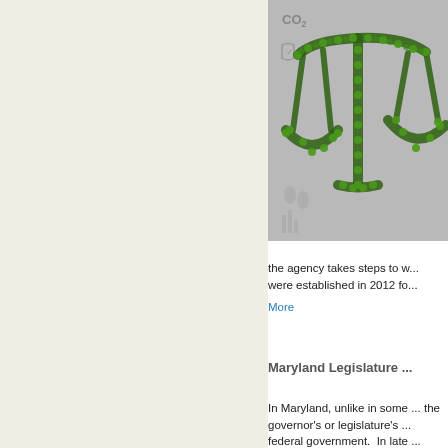[Figure (photo): A scales-of-justice symbol made from green leaves/foliage against a gray background with environmental icons (CO2, footprints, clouds, charts). The image is partially cropped on the right side.]
the agency takes steps to w... were established in 2012 fo...
More
Maryland Legislature ...
In Maryland, unlike in some ... the governor's or legislature's ... federal government.  In late ...